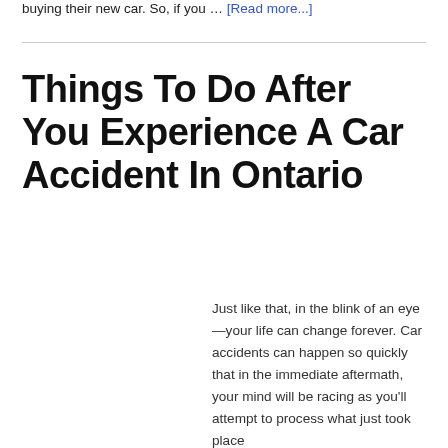buying their new car. So, if you … [Read more...]
Things To Do After You Experience A Car Accident In Ontario
Just like that, in the blink of an eye—your life can change forever. Car accidents can happen so quickly that in the immediate aftermath, your mind will be racing as you'll attempt to process what just took place and what shall happen next, especially if there are injuries sustained. While each car in Canada has a car